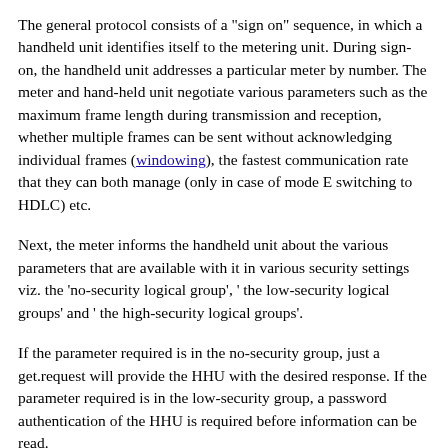The general protocol consists of a "sign on" sequence, in which a handheld unit identifies itself to the metering unit. During sign-on, the handheld unit addresses a particular meter by number. The meter and hand-held unit negotiate various parameters such as the maximum frame length during transmission and reception, whether multiple frames can be sent without acknowledging individual frames (windowing), the fastest communication rate that they can both manage (only in case of mode E switching to HDLC) etc.
Next, the meter informs the handheld unit about the various parameters that are available with it in various security settings viz. the 'no-security logical group', ' the low-security logical groups' and ' the high-security logical groups'.
If the parameter required is in the no-security group, just a get.request will provide the HHU with the desired response. If the parameter required is in the low-security group, a password authentication of the HHU is required before information can be read.
In case of high-security parameters, the meter challenges the handheld unit with a cryptographic password. The handheld unit must return an encrypted password. If the password exchange is correct, the meter accepts the handheld unit: it is "signed on."